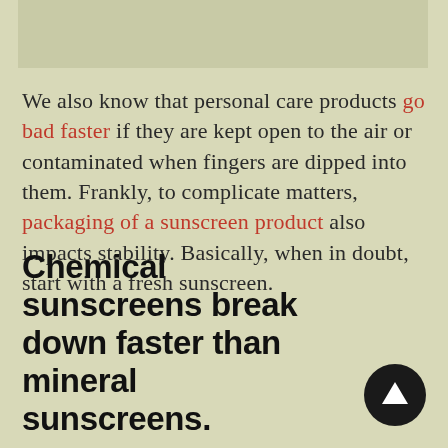[Figure (photo): Partial image placeholder at the top of the page, light olive/grey rectangle]
We also know that personal care products go bad faster if they are kept open to the air or contaminated when fingers are dipped into them. Frankly, to complicate matters, packaging of a sunscreen product also impacts stability. Basically, when in doubt, start with a fresh sunscreen.
Chemical sunscreens break down faster than mineral sunscreens.